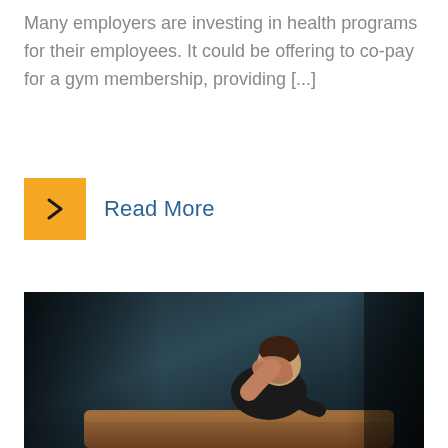Many employers are investing in health programs for their employees. It could be offering to co-pay for a gym membership, providing [...]
Read More
[Figure (photo): A man sitting on a leather couch/chair with his hand covering his face in a distressed or thoughtful pose, against a dark teal/blue-grey background]